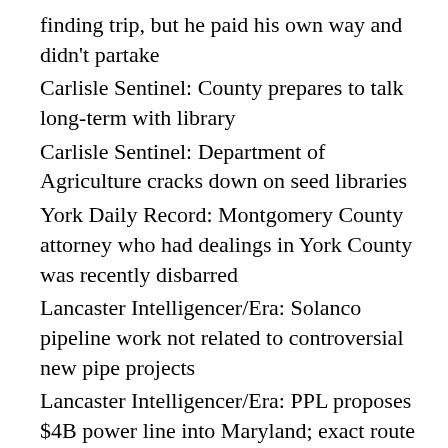finding trip, but he paid his own way and didn't partake
Carlisle Sentinel: County prepares to talk long-term with library
Carlisle Sentinel: Department of Agriculture cracks down on seed libraries
York Daily Record: Montgomery County attorney who had dealings in York County was recently disbarred
Lancaster Intelligencer/Era: Solanco pipeline work not related to controversial new pipe projects
Lancaster Intelligencer/Era: PPL proposes $4B power line into Maryland; exact route not determined
Roxbury News: Investment Advisor Sentenced To 262 Months Imprisonment.